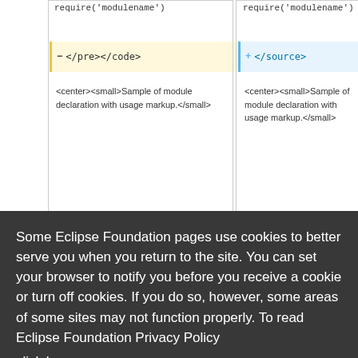require('modulename')
</pre></code>
require('modulename')
</source>
<center><small>Sample of module declaration with usage markup.</small>
<center><small>Sample of module declaration with usage markup.</small>
Some Eclipse Foundation pages use cookies to better serve you when you return to the site. You can set your browser to notify you before you receive a cookie or turn off cookies. If you do so, however, some areas of some sites may not function properly. To read Eclipse Foundation Privacy Policy click here.
Decline
Allow cookies